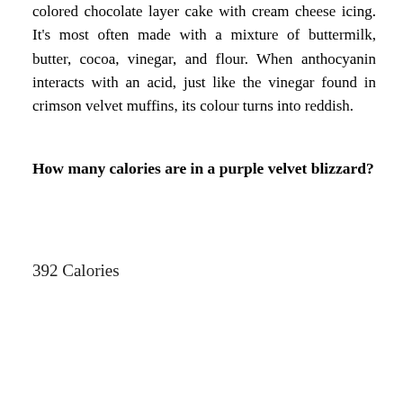colored chocolate layer cake with cream cheese icing. It's most often made with a mixture of buttermilk, butter, cocoa, vinegar, and flour. When anthocyanin interacts with an acid, just like the vinegar found in crimson velvet muffins, its colour turns into reddish.
How many calories are in a purple velvet blizzard?
392 Calories
|  |  |
| --- | --- |
| Fat | 14.7 g |
| Carbs | 58.2 g |
| Fiber | 0.4 g |